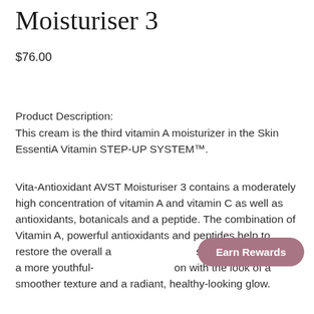Moisturiser 3
$76.00
Product Description:
This cream is the third vitamin A moisturizer in the Skin EssentiA Vitamin STEP-UP SYSTEM™.
Vita-Antioxidant AVST Moisturiser 3 contains a moderately high concentration of vitamin A and vitamin C as well as antioxidants, botanicals and a peptide. The combination of Vitamin A, powerful antioxidants and peptides help to restore the overall appearance of the skin, which results in a more youthful-looking complexion with the look of a smoother texture and a radiant, healthy-looking glow.
[Figure (other): Earn Rewards button overlay, pill-shaped, mauve/pink color]